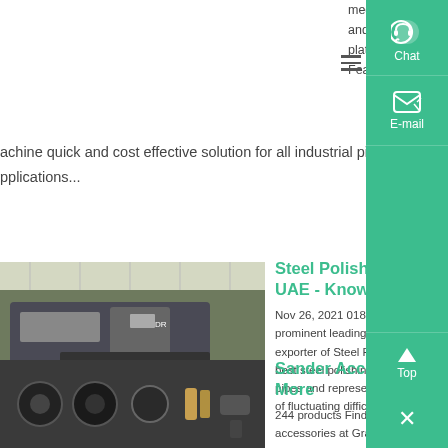mechanism makes belt and roller changes fast and simple Also includes a 110mm x 38 platen and work stop for flat sanding on Features heavy duty industrial preferre
achine quick and cost effective solution for all industrial pipe grinding applications...
[Figure (photo): Industrial machinery in a factory setting, heavy equipment on green floor]
Steel Polishing Machine in UAE - Know More
Nov 26, 2021 0183 32 DR Machine too prominent leading manufacturer, suppli exporter of Steel Polishing Machine in best steel polishing machining of stainl pipes and representation engage a hug of fluctuating difficulti...
[Figure (photo): Dark metal parts and accessories laid out on a surface]
Sander Accessories - Know More
244 products Find a wide range of sander accessories at Grainger to help you ge